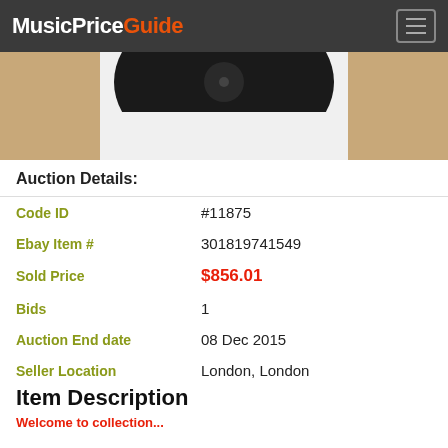MusicPriceGuide
[Figure (photo): Partial view of a vinyl record in a white sleeve on a wooden surface]
Auction Details:
| Field | Value |
| --- | --- |
| Code ID | #11875 |
| Ebay Item # | 301819741549 |
| Sold Price | $856.01 |
| Bids | 1 |
| Auction End date | 08 Dec 2015 |
| Seller Location | London, London |
Item Description